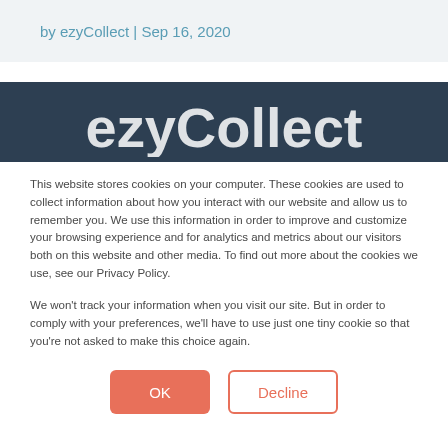by ezyCollect | Sep 16, 2020
[Figure (logo): ezyCollect logo text in white on dark navy background]
This website stores cookies on your computer. These cookies are used to collect information about how you interact with our website and allow us to remember you. We use this information in order to improve and customize your browsing experience and for analytics and metrics about our visitors both on this website and other media. To find out more about the cookies we use, see our Privacy Policy.
We won't track your information when you visit our site. But in order to comply with your preferences, we'll have to use just one tiny cookie so that you're not asked to make this choice again.
OK
Decline